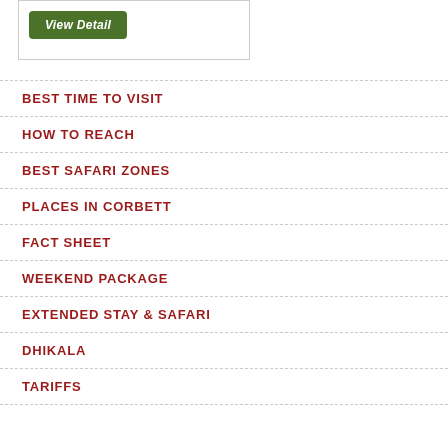[Figure (screenshot): A button labeled 'View Detail' with white italic text on a dark green rounded rectangle background, inside a white bordered box.]
BEST TIME TO VISIT
HOW TO REACH
BEST SAFARI ZONES
PLACES IN CORBETT
FACT SHEET
WEEKEND PACKAGE
EXTENDED STAY & SAFARI
DHIKALA
TARIFFS